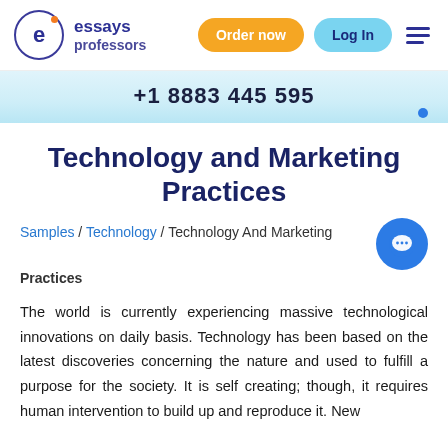essays professors | Order now | Log In
+1 8883 445 595
Technology and Marketing Practices
Samples / Technology / Technology And Marketing Practices
The world is currently experiencing massive technological innovations on daily basis. Technology has been based on the latest discoveries concerning the nature and used to fulfill a purpose for the society. It is self creating; though, it requires human intervention to build up and reproduce it. New